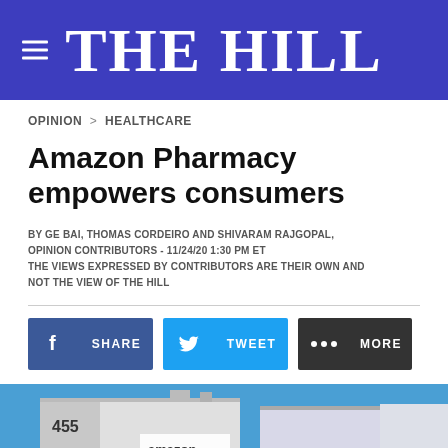THE HILL
OPINION > HEALTHCARE
Amazon Pharmacy empowers consumers
BY GE BAI, THOMAS CORDEIRO AND SHIVARAM RAJGOPAL, OPINION CONTRIBUTORS - 11/24/20 1:30 PM ET THE VIEWS EXPRESSED BY CONTRIBUTORS ARE THEIR OWN AND NOT THE VIEW OF THE HILL
[Figure (photo): Exterior photo of an Amazon building/warehouse with blue sky, showing the number 4550 on the building facade.]